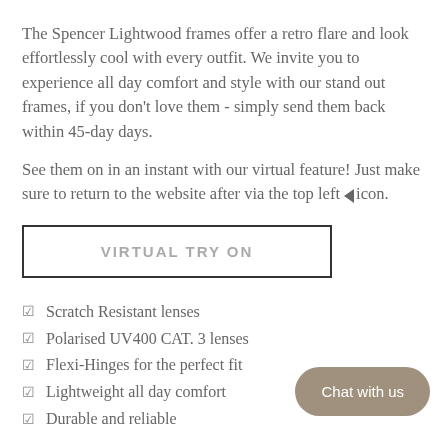The Spencer Lightwood frames offer a retro flare and look effortlessly cool with every outfit. We invite you to experience all day comfort and style with our stand out frames, if you don't love them - simply send them back within 45-day days.
See them on in an instant with our virtual feature! Just make sure to return to the website after via the top left ◄ icon.
VIRTUAL TRY ON
☑ Scratch Resistant lenses
☑ Polarised UV400 CAT. 3 lenses
☑ Flexi-Hinges for the perfect fit
☑ Lightweight all day comfort
☑ Durable and reliable